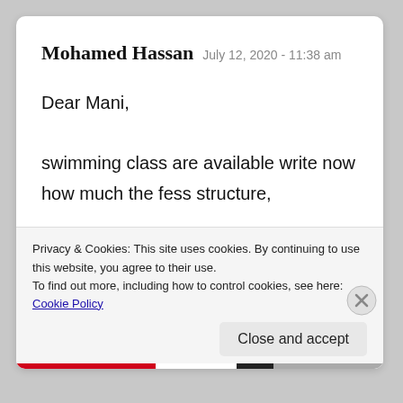Mohamed Hassan  July 12, 2020 - 11:38 am
Dear Mani,
swimming class are available write now
how much the fess structure,
Swimming kung fu & abacus
Privacy & Cookies: This site uses cookies. By continuing to use this website, you agree to their use.
To find out more, including how to control cookies, see here: Cookie Policy